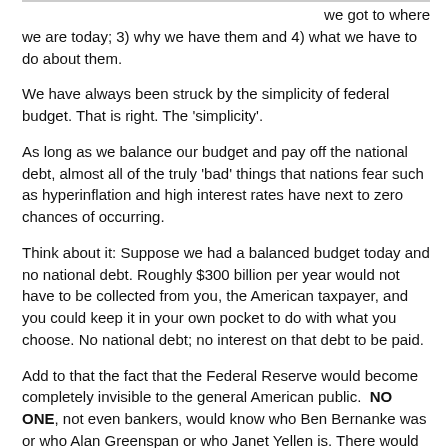we got to where we are today; 3) why we have them and 4) what we have to do about them.
We have always been struck by the simplicity of federal budget. That is right. The 'simplicity'.
As long as we balance our budget and pay off the national debt, almost all of the truly 'bad' things that nations fear such as hyperinflation and high interest rates have next to zero chances of occurring.
Think about it: Suppose we had a balanced budget today and no national debt. Roughly $300 billion per year would not have to be collected from you, the American taxpayer, and you could keep it in your own pocket to do with what you choose. No national debt; no interest on that debt to be paid.
Add to that the fact that the Federal Reserve would become completely invisible to the general American public. NO ONE, not even bankers, would know who Ben Bernanke was or who Alan Greenspan or who Janet Yellen is. There would